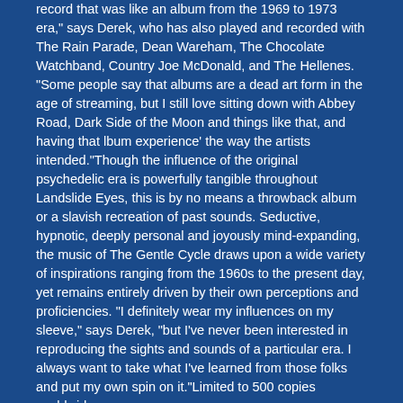record that was like an album from the 1969 to 1973 era," says Derek, who has also played and recorded with The Rain Parade, Dean Wareham, The Chocolate Watchband, Country Joe McDonald, and The Hellenes. "Some people say that albums are a dead art form in the age of streaming, but I still love sitting down with Abbey Road, Dark Side of the Moon and things like that, and having that lbum experience' the way the artists intended."Though the influence of the original psychedelic era is powerfully tangible throughout Landslide Eyes, this is by no means a throwback album or a slavish recreation of past sounds. Seductive, hypnotic, deeply personal and joyously mind-expanding, the music of The Gentle Cycle draws upon a wide variety of inspirations ranging from the 1960s to the present day, yet remains entirely driven by their own perceptions and proficiencies. "I definitely wear my influences on my sleeve," says Derek, "but I've never been interested in reproducing the sights and sounds of a particular era. I always want to take what I've learned from those folks and put my own spin on it."Limited to 500 copies worldwide.
TRACKLISTING: 01. Like December Is Bold 02. The Vines That Sway 03. Ivy 04. Celestial Stride 05. Landslide Eyes 06. Sad Angel Theme 07. Run The Other Way 08. Sun Spots 09. Let Me